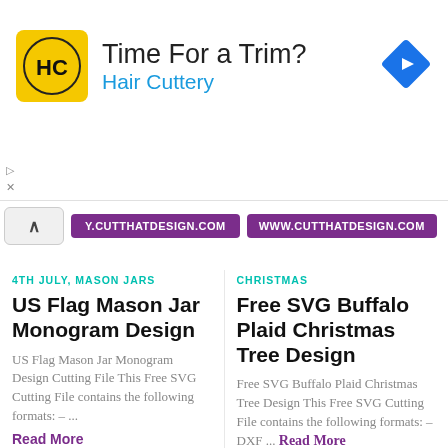[Figure (screenshot): Advertisement banner for Hair Cuttery showing logo, 'Time For a Trim?' text, and navigation icon]
WWW.CUTTHATDESIGN.COM
4TH JULY, MASON JARS
US Flag Mason Jar Monogram Design
US Flag Mason Jar Monogram Design Cutting File This Free SVG Cutting File contains the following formats: – ...
Read More
CHRISTMAS
Free SVG Buffalo Plaid Christmas Tree Design
Free SVG Buffalo Plaid Christmas Tree Design This Free SVG Cutting File contains the following formats: – DXF ... Read More